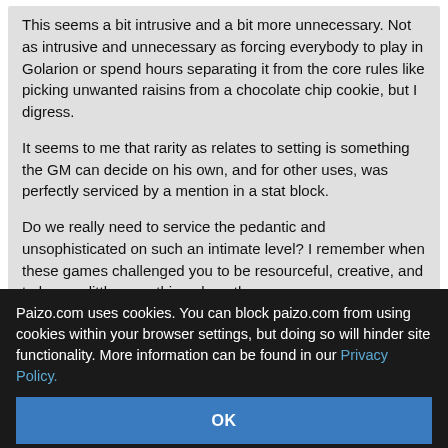This seems a bit intrusive and a bit more unnecessary. Not as intrusive and unnecessary as forcing everybody to play in Golarion or spend hours separating it from the core rules like picking unwanted raisins from a chocolate chip cookie, but I digress.
It seems to me that rarity as relates to setting is something the GM can decide on his own, and for other uses, was perfectly serviced by a mention in a stat block.
Do we really need to service the pedantic and unsophisticated on such an intimate level? I remember when these games challenged you to be resourceful, creative, and to learn a little something along the way.
You know what doesn't challenge you to be resourceful? Being able to acquire every magic item at the Quick-e-Mart.
"What do you mean, I cannot just buy a Ring of Three Wishes here? This store sells all sorts of magic items! Even the strongest Bag of Holding or something..."
Paizo.com uses cookies. You can block paizo.com from using cookies within your browser settings, but doing so will hinder site functionality. More information can be found in our Privacy Policy.
OK